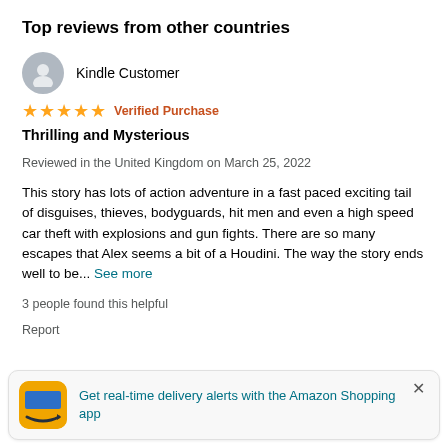Top reviews from other countries
Kindle Customer
★★★★★ Verified Purchase
Thrilling and Mysterious
Reviewed in the United Kingdom on March 25, 2022
This story has lots of action adventure in a fast paced exciting tail of disguises, thieves, bodyguards, hit men and even a high speed car theft with explosions and gun fights. There are so many escapes that Alex seems a bit of a Houdini. The way the story ends well to be... See more
3 people found this helpful
Report
Get real-time delivery alerts with the Amazon Shopping app